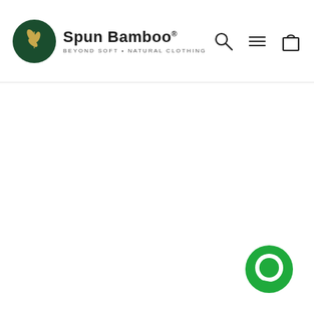[Figure (logo): Spun Bamboo logo: dark green circle with bamboo leaf illustration on left, brand name 'Spun Bamboo' in bold black text with registered trademark symbol, tagline 'BEYOND SOFT • NATURAL CLOTHING' in small spaced caps beneath]
[Figure (other): Navigation icons: search magnifying glass, hamburger menu (three horizontal lines), and shopping bag icon]
[Figure (other): Green circular chat/messaging button in bottom-right corner]